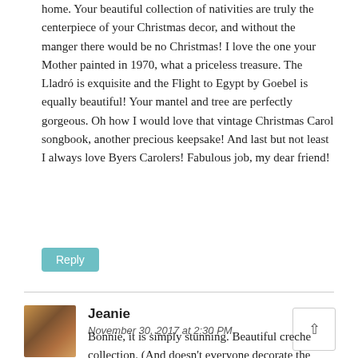home. Your beautiful collection of nativities are truly the centerpiece of your Christmas decor, and without the manger there would be no Christmas! I love the one your Mother painted in 1970, what a priceless treasure. The Lladró is exquisite and the Flight to Egypt by Goebel is equally beautiful! Your mantel and tree are perfectly gorgeous. Oh how I would love that vintage Christmas Carol songbook, another precious keepsake! And last but not least I always love Byers Carolers! Fabulous job, my dear friend!
Reply
Jeanie
November 30, 2017 at 2:30 PM
Bonnie, it is simply stunning. Beautiful creche collection. (And doesn't everyone decorate the